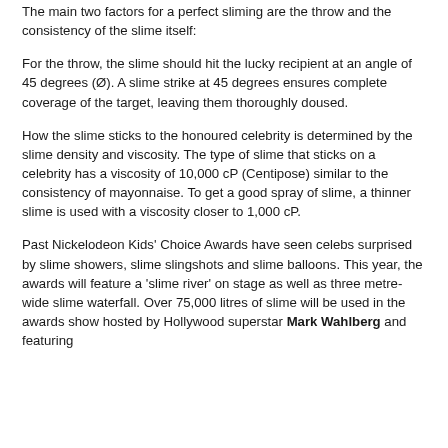The main two factors for a perfect sliming are the throw and the consistency of the slime itself:
For the throw, the slime should hit the lucky recipient at an angle of 45 degrees (Ø). A slime strike at 45 degrees ensures complete coverage of the target, leaving them thoroughly doused.
How the slime sticks to the honoured celebrity is determined by the slime density and viscosity. The type of slime that sticks on a celebrity has a viscosity of 10,000 cP (Centipose) similar to the consistency of mayonnaise. To get a good spray of slime, a thinner slime is used with a viscosity closer to 1,000 cP.
Past Nickelodeon Kids' Choice Awards have seen celebs surprised by slime showers, slime slingshots and slime balloons. This year, the awards will feature a 'slime river' on stage as well as three metre-wide slime waterfall. Over 75,000 litres of slime will be used in the awards show hosted by Hollywood superstar Mark Wahlberg and featuring